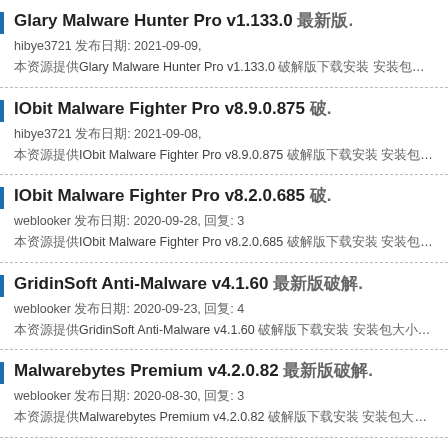Glary Malware Hunter Pro v1.133.0 □□□.
hibye3721 □□□: 2021-09-09,
□□□□□□□Glary Malware Hunter Pro v1.133.0 □□□□□□□□□□ □□□□□□100MB □□□□□□RAR □□□□□
IObit Malware Fighter Pro v8.9.0.875 □.
hibye3721 □□□: 2021-09-08,
□□□□□□□IObit Malware Fighter Pro v8.9.0.875 □□□□□□□□□□ □□□□□□62MB □□□□□□RAR □□□□□
IObit Malware Fighter Pro v8.2.0.685 □.
weblooker □□□: 2020-09-28, □□: 3
□□□□□□□IObit Malware Fighter Pro v8.2.0.685 □□□□□□□□□□ □□□□□□70MB □□□□□□RAR □□□□□
GridinSoft Anti-Malware v4.1.60 □□□□.
weblooker □□□: 2020-09-23, □□: 4
□□□□□□□GridinSoft Anti-Malware v4.1.60 □□□□□□□□□□ □□□□□□136MB □□□□□□RAR □□□□□□□
Malwarebytes Premium v4.2.0.82 □□□□.
weblooker □□□: 2020-08-30, □□: 3
□□□□□□□Malwarebytes Premium v4.2.0.82 □□□□□□□□□□ □□□□□□171MB □□□□□□RAR □□□□□□□
Glary Malware Hunter Pro v1.109.0.701 □.